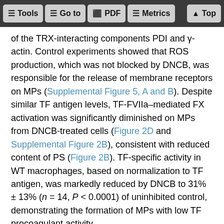Tools | Go to | PDF | Metrics | Top
of the TRX-interacting components PDI and γ-actin. Control experiments showed that ROS production, which was not blocked by DNCB, was responsible for the release of membrane receptors on MPs (Supplemental Figure 5, A and B). Despite similar TF antigen levels, TF-FVIIa–mediated FX activation was significantly diminished on MPs from DNCB-treated cells (Figure 2D and Supplemental Figure 2B), consistent with reduced content of PS (Figure 2B). TF-specific activity in WT macrophages, based on normalization to TF antigen, was markedly reduced by DNCB to 31% ± 13% (n = 14, P < 0.0001) of uninhibited control, demonstrating the formation of MPs with low TF procoagulant activity.
While macrophage TF procoagulant activity is high